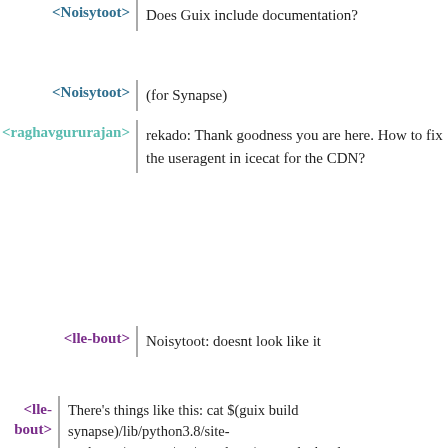<Noisytoot> Does Guix include documentation?
<Noisytoot> (for Synapse)
<raghavgururajan> rekado: Thank goodness you are here. How to fix the useragent in icecat for the CDN?
<lle-bout> Noisytoot: doesnt look like it
<lle-bout> There's things like this: cat $(guix build synapse)/lib/python3.8/site-packages/synapse/res/templates/recaptcha.html
<lle-bout> There, there's a script include with recaptcha
<raghavgururajan> Noisytoot: Btw, thanks